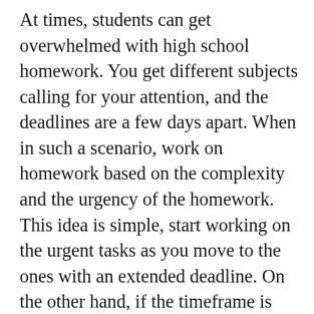At times, students can get overwhelmed with high school homework. You get different subjects calling for your attention, and the deadlines are a few days apart. When in such a scenario, work on homework based on the complexity and the urgency of the homework. This idea is simple, start working on the urgent tasks as you move to the ones with an extended deadline. On the other hand, if the timeframe is enough for all homework tasks, start with the hard ones as you narrow down to the easy assignments—also, the timings maters. Make sure you do complex homework after waking up and freshening up when your